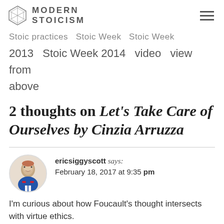MODERN STOICISM
Stoic practices  Stoic Week  Stoic Week 2013  Stoic Week 2014  video  view from above
2 thoughts on Let's Take Care of Ourselves by Cinzia Arruzza
ericsiggyscott says: February 18, 2017 at 9:35 pm
I'm curious about how Foucault's thought intersects with virtue ethics.